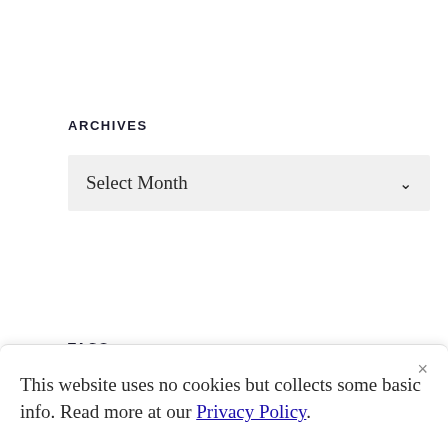ARCHIVES
Select Month
TAGS
This website uses no cookies but collects some basic info. Read more at our Privacy Policy.